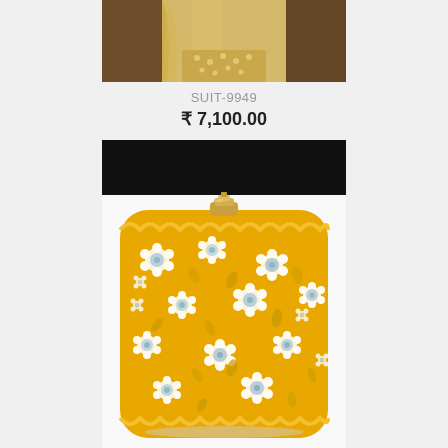[Figure (photo): Partial view of a yellow/cream embroidered Indian suit (top portion of a mannequin or model wearing the suit), cropped at the top of the page.]
SUIT-9949
₹ 7,100.00
[Figure (photo): A yellow clutch bag with white and light blue floral embroidery pattern covering the entire surface. The bag has a gold metal clasp on top. It is square-shaped with rounded corners.]